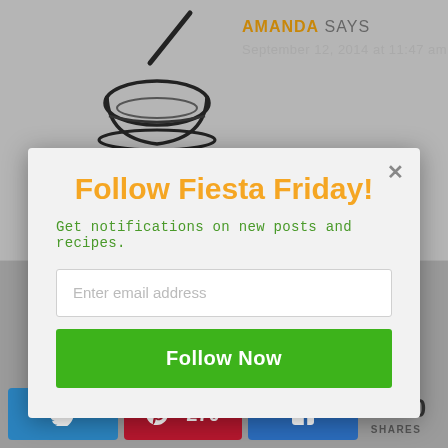[Figure (illustration): Bowl with spoon illustration (avatar/profile image)]
AMANDA SAYS
September 12, 2014 at 11:47 am
Follow Fiesta Friday!
Get notifications on new posts and recipes.
Enter email address
Follow Now
[Figure (logo): SUMO logo badge with crown icon]
270
SHARES